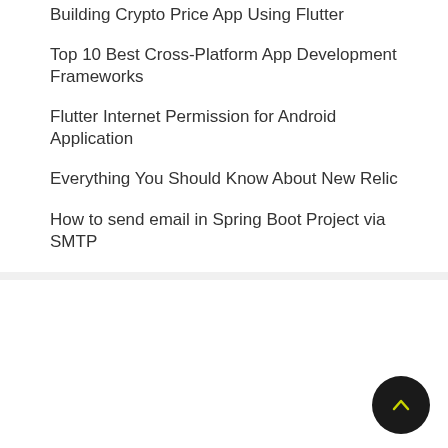Building Crypto Price App Using Flutter
Top 10 Best Cross-Platform App Development Frameworks
Flutter Internet Permission for Android Application
Everything You Should Know About New Relic
How to send email in Spring Boot Project via SMTP
[Figure (other): Back to top button — dark circular button with a chevron/caret pointing upward in yellow-green color]